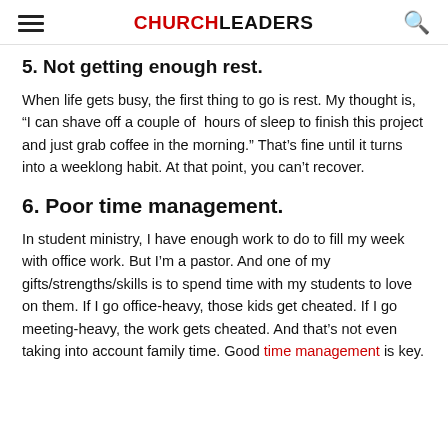CHURCHLEADERS
5. Not getting enough rest.
When life gets busy, the first thing to go is rest. My thought is, “I can shave off a couple of  hours of sleep to finish this project and just grab coffee in the morning.” That’s fine until it turns into a weeklong habit. At that point, you can’t recover.
6. Poor time management.
In student ministry, I have enough work to do to fill my week with office work. But I’m a pastor. And one of my gifts/strengths/skills is to spend time with my students to love on them. If I go office-heavy, those kids get cheated. If I go meeting-heavy, the work gets cheated. And that’s not even taking into account family time. Good time management is key.